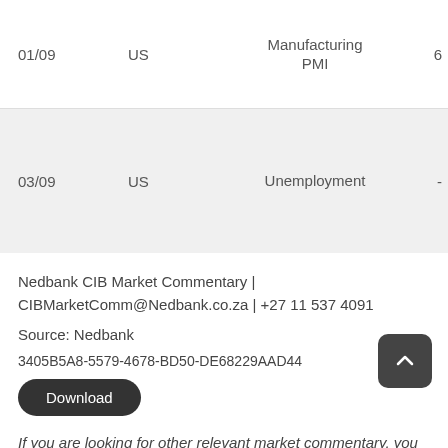| Date | Country | Indicator | Value |
| --- | --- | --- | --- |
| 01/09 | US | Manufacturing PMI | 6 |
| 03/09 | US | Unemployment | - |
Nedbank CIB Market Commentary | CIBMarketComm@Nedbank.co.za | +27 11 537 4091
Source: Nedbank
3405B5A8-5579-4678-BD50-DE68229AAD44
If you are looking for other relevant market commentary, you might find Markets and